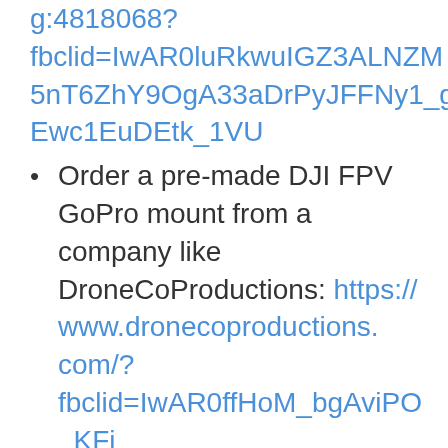g:4818068?fbclid=IwAR0luRkwuIGZ3ALNZM5nT6ZhY9OgA33aDrPyJFFNy1_g6Ewc1EuDEtk_1VU
Order a pre-made DJI FPV GoPro mount from a company like DroneCoProductions: https://www.dronecoproductions.com/?fbclid=IwAR0ffHoM_bgAviPO_KFiGL3wv8HI5iijATCT7_aNs_yTpMxuISulduB2puY
If you want a rear mount option (makes for some incredible footage!) you can order a custom printed one from eBay here: https://www.ebay.com.au/itm/2034973173142